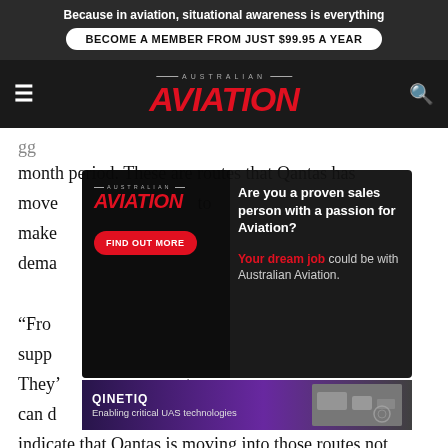Because in aviation, situational awareness is everything
BECOME A MEMBER FROM JUST $99.95 A YEAR
[Figure (logo): Australian Aviation logo with red italic AVIATION text]
gg... month period. These are routes that Qantas has moved to demand...
[Figure (infographic): Australian Aviation job advertisement overlay: Are you a proven sales person with a passion for Aviation? FIND OUT MORE. Your dream job could be with Australian Aviation.]
[Figure (infographic): QinetiQ advertisement banner: Enabling critical UAS technologies]
"From... support... They'... t you can d... ld indicate that Qantas is moving into those routes not